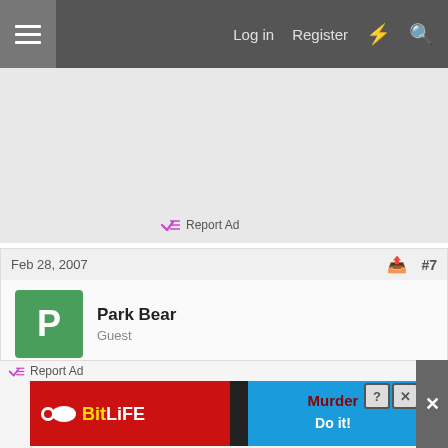Log in  Register
[Figure (screenshot): Advertisement block with light gray background and 'Report Ad' link]
Feb 28, 2007  #7
Park Bear
Guest
great pics....you must have a nice digital SLR
Reply
[Figure (screenshot): Bottom ad banner: BitLife - Murder Do it! advertisement with report ad link and close button]